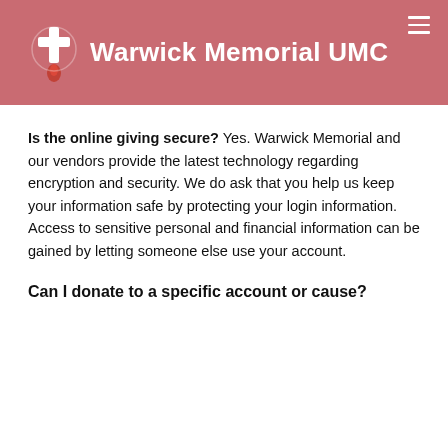Warwick Memorial UMC
Is the online giving secure? Yes. Warwick Memorial and our vendors provide the latest technology regarding encryption and security. We do ask that you help us keep your information safe by protecting your login information. Access to sensitive personal and financial information can be gained by letting someone else use your account.
Can I donate to a specific account or cause?